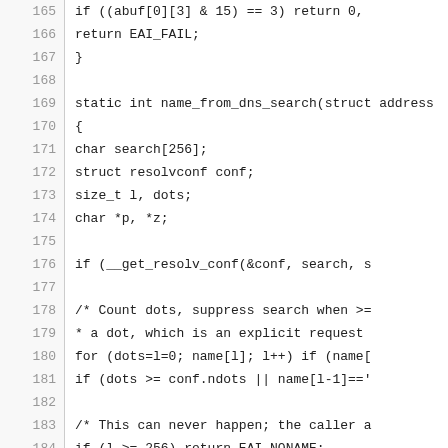[Figure (other): Source code listing showing lines 165–195 of a C function name_from_dns_search, including variable declarations, control flow, and comments about DNS search domain logic.]